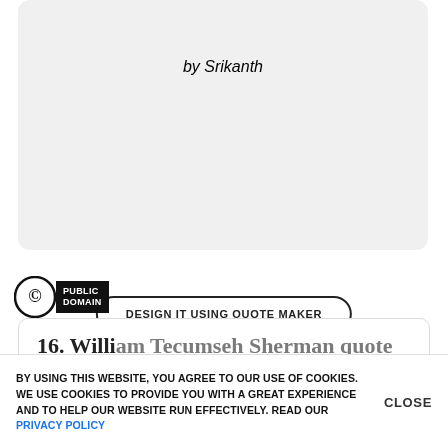by Srikanth
DESIGN IT USING QUOTE MAKER
[Figure (logo): Public Domain copyright symbol badge with black background and white text reading PUBLIC DOMAIN]
[Figure (infographic): Blue pill-shaped button with crown icon and text REMOVE ADS. UPGRADE TO PRO]
16. William Tecumseh Sherman quote about
BY USING THIS WEBSITE, YOU AGREE TO OUR USE OF COOKIES. WE USE COOKIES TO PROVIDE YOU WITH A GREAT EXPERIENCE AND TO HELP OUR WEBSITE RUN EFFECTIVELY. READ OUR PRIVACY POLICY
CLOSE